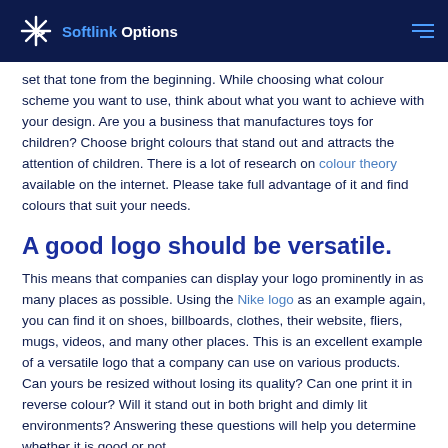Softlink Options
set that tone from the beginning. While choosing what colour scheme you want to use, think about what you want to achieve with your design. Are you a business that manufactures toys for children? Choose bright colours that stand out and attracts the attention of children. There is a lot of research on colour theory available on the internet. Please take full advantage of it and find colours that suit your needs.
A good logo should be versatile.
This means that companies can display your logo prominently in as many places as possible. Using the Nike logo as an example again, you can find it on shoes, billboards, clothes, their website, fliers, mugs, videos, and many other places. This is an excellent example of a versatile logo that a company can use on various products. Can yours be resized without losing its quality? Can one print it in reverse colour? Will it stand out in both bright and dimly lit environments? Answering these questions will help you determine whether it is good or not.
Relevance to the brand